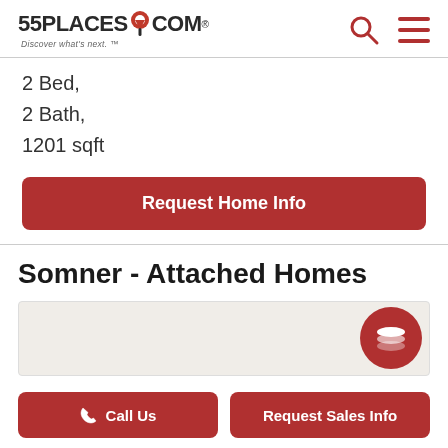55PLACES.COM Discover what's next.™
2 Bed,
2 Bath,
1201 sqft
Request Home Info
Somner - Attached Homes
[Figure (map): Map area for Somner Attached Homes with layers toggle button]
Call Us
Request Sales Info